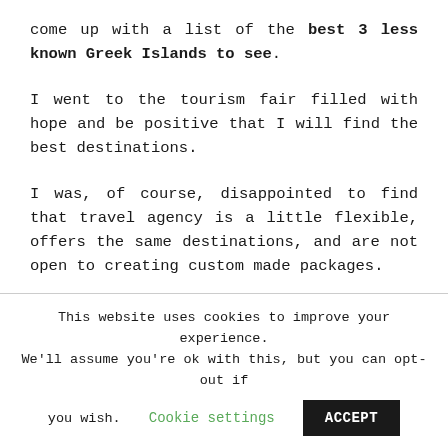come up with a list of the best 3 less known Greek Islands to see.
I went to the tourism fair filled with hope and be positive that I will find the best destinations.
I was, of course, disappointed to find that travel agency is a little flexible, offers the same destinations, and are not open to creating custom made packages.
This website uses cookies to improve your experience. We'll assume you're ok with this, but you can opt-out if you wish. Cookie settings ACCEPT